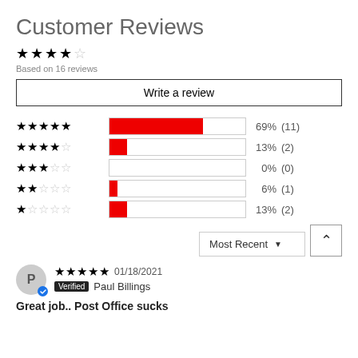Customer Reviews
Based on 16 reviews
Write a review
[Figure (bar-chart): Rating distribution]
Most Recent
01/18/2021 Verified Paul Billings
Great job.. Post Office sucks